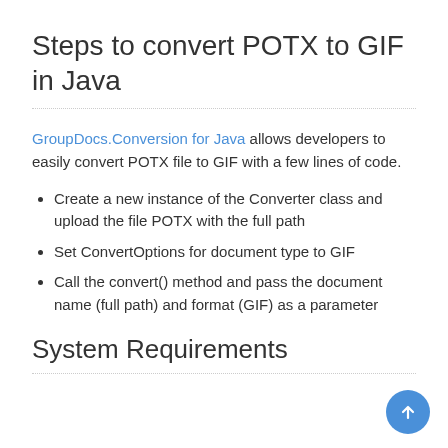Steps to convert POTX to GIF in Java
GroupDocs.Conversion for Java allows developers to easily convert POTX file to GIF with a few lines of code.
Create a new instance of the Converter class and upload the file POTX with the full path
Set ConvertOptions for document type to GIF
Call the convert() method and pass the document name (full path) and format (GIF) as a parameter
System Requirements